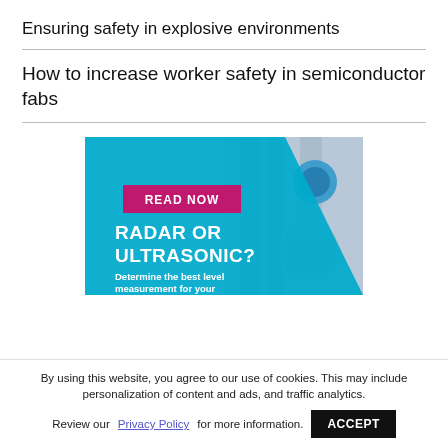Ensuring safety in explosive environments
How to increase worker safety in semiconductor fabs
[Figure (photo): Promotional image with blue diagonal background showing industrial measurement equipment. Contains 'READ NOW' button in magenta, large text 'RADAR OR ULTRASONIC?' in white bold, and subtitle 'Determine the best level measurement for your...' in white.]
By using this website, you agree to our use of cookies. This may include personalization of content and ads, and traffic analytics.
Review our Privacy Policy for more information.